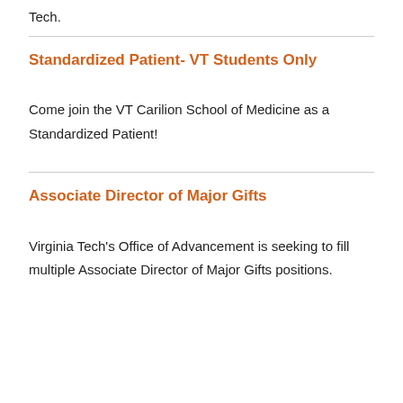Tech.
Standardized Patient- VT Students Only
Come join the VT Carilion School of Medicine as a Standardized Patient!
Associate Director of Major Gifts
Virginia Tech's Office of Advancement is seeking to fill multiple Associate Director of Major Gifts positions.